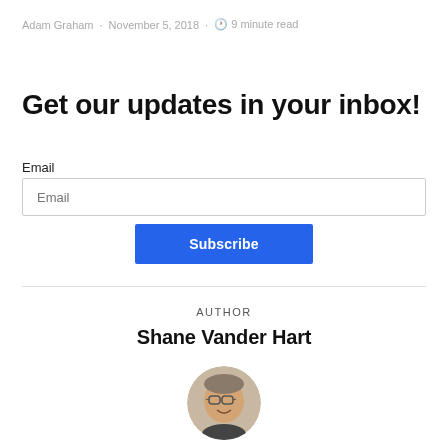Adam Graham · November 5, 2018 · 🕐 9 minute read
Get our updates in your inbox!
Email
Email
Subscribe
AUTHOR
Shane Vander Hart
[Figure (photo): Circular portrait photo of Shane Vander Hart, a man with glasses and a smile]